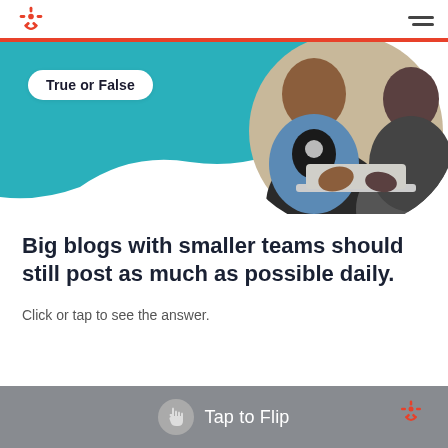HubSpot logo and navigation menu
[Figure (illustration): Teal blob background with 'True or False' badge label on the left, and a circular-cropped photo of two people working on a laptop on the right.]
Big blogs with smaller teams should still post as much as possible daily.
Click or tap to see the answer.
Tap to Flip